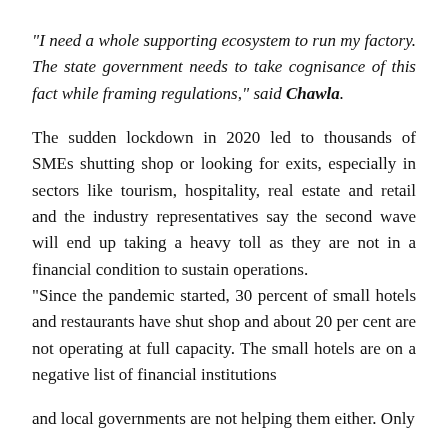“I need a whole supporting ecosystem to run my factory. The state government needs to take cognisance of this fact while framing regulations,” said Chawla.
The sudden lockdown in 2020 led to thousands of SMEs shutting shop or looking for exits, especially in sectors like tourism, hospitality, real estate and retail and the industry representatives say the second wave will end up taking a heavy toll as they are not in a financial condition to sustain operations. “Since the pandemic started, 30 percent of small hotels and restaurants have shut shop and about 20 per cent are not operating at full capacity. The small hotels are on a negative list of financial institutions
and local governments are not helping them either. Only